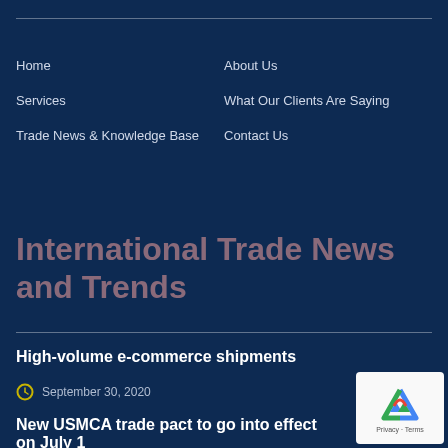Home
About Us
Services
What Our Clients Are Saying
Trade News & Knowledge Base
Contact Us
International Trade News and Trends
High-volume e-commerce shipments
September 30, 2020
New USMCA trade pact to go into effect on July 1